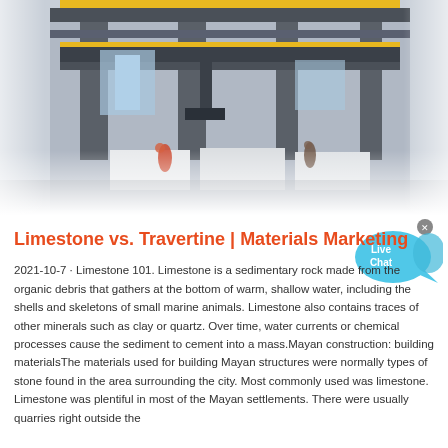[Figure (photo): Industrial factory or processing facility interior showing large machinery, cranes, steel frames and workers on the floor. Image fades to white at the bottom.]
[Figure (illustration): Live Chat speech bubble widget in cyan/light blue color with white text 'Live Chat' and an X close button in the top right corner.]
Limestone vs. Travertine | Materials Marketing
2021-10-7 · Limestone 101. Limestone is a sedimentary rock made from the organic debris that gathers at the bottom of warm, shallow water, including the shells and skeletons of small marine animals. Limestone also contains traces of other minerals such as clay or quartz. Over time, water currents or chemical processes cause the sediment to cement into a mass.Mayan construction: building materialsThe materials used for building Mayan structures were normally types of stone found in the area surrounding the city. Most commonly used was limestone. Limestone was plentiful in most of the Mayan settlements. There were usually quarries right outside the